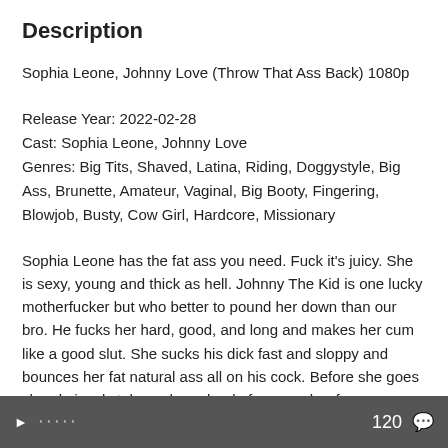Description
Sophia Leone, Johnny Love (Throw That Ass Back) 1080p
Release Year: 2022-02-28
Cast: Sophia Leone, Johnny Love
Genres: Big Tits, Shaved, Latina, Riding, Doggystyle, Big Ass, Brunette, Amateur, Vaginal, Big Booty, Fingering, Blowjob, Busty, Cow Girl, Hardcore, Missionary
Sophia Leone has the fat ass you need. Fuck it's juicy. She is sexy, young and thick as hell. Johnny The Kid is one lucky motherfucker but who better to pound her down than our bro. He fucks her hard, good, and long and makes her cum like a good slut. She sucks his dick fast and sloppy and bounces her fat natural ass all on his cock. Before she goes she obviously takes a huge load of cum on her face.
120